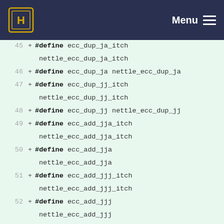Menu
45 + #define ecc_dup_ja_itch nettle_ecc_dup_ja_itch
46 + #define ecc_dup_ja nettle_ecc_dup_ja
47 + #define ecc_dup_jj_itch nettle_ecc_dup_jj_itch
48 + #define ecc_dup_jj nettle_ecc_dup_jj
49 + #define ecc_add_jja_itch nettle_ecc_add_jja_itch
50 + #define ecc_add_jja nettle_ecc_add_jja
51 + #define ecc_add_jjj_itch nettle_ecc_add_jjj_itch
52 + #define ecc_add_jjj nettle_ecc_add_jjj
53 + #define ecc_mul_g_itch nettle_ecc_mul_g_itch
54 + #define ecc_mul_g nettle_ecc_mul_g
55 + #define ecc_mul_a_itch nettle_ecc_mul_a_itch
56 + #define ecc_mul_a nettle_ecc_mul_a